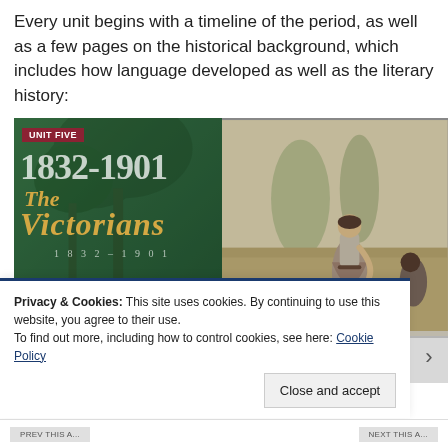Every unit begins with a timeline of the period, as well as a few pages on the historical background, which includes how language developed as well as the literary history:
[Figure (photo): Book cover spread for 'The Victorians 1832-1901' (Unit Five) shown on the left side with a green background and gold serif typography, alongside a realist painting on the right depicting a woman in Victorian-era working clothes standing in a field.]
Privacy & Cookies: This site uses cookies. By continuing to use this website, you agree to their use.
To find out more, including how to control cookies, see here: Cookie Policy
Close and accept